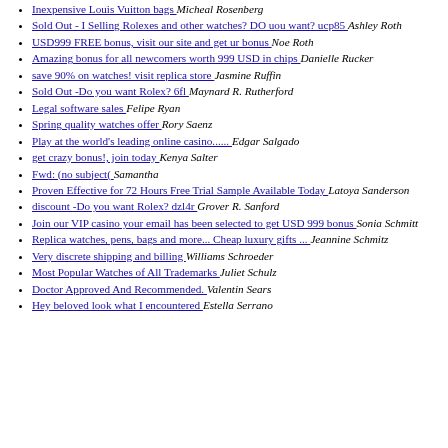Inexpensive Louis Vuitton bags  Micheal Rosenberg
Sold Out - I Selling Rolexes and other watches? DO uou want? ucp85  Ashley Roth
USD999 FREE bonus, visit our site and get ur bonus  Noe Roth
Amazing bonus for all newcomers worth 999 USD in chips  Danielle Rucker
save 90% on watches! visit replica store  Jasmine Ruffin
Sold Out -Do you want Rolex? 6fl  Maynard R. Rutherford
Legal software sales  Felipe Ryan
Spring quality watches offer  Rory Saenz
Play at the world's leading online casino......  Edgar Salgado
get crazy bonus!, join today  Kenya Salter
Fwd: (no subject(  Samantha
Proven Effective for 72 Hours Free Trial Sample Available Today  Latoya Sanderson
discount -Do you want Rolex? dzl4r  Grover R. Sanford
Join our VIP casino your email has been selected to get USD 999 bonus  Sonia Schmitt
Replica watches, pens, bags and more... Cheap luxury gifts ...  Jeannine Schmitz
Very discrete shipping and billing  Williams Schroeder
Most Popular Watches of All Trademarks  Juliet Schulz
Doctor Approved And Recommended.  Valentin Sears
Hey beloved look what I encountered  Estella Serrano